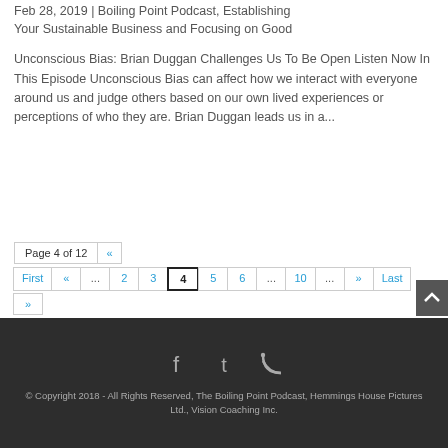Feb 28, 2019 | Boiling Point Podcast, Establishing Your Sustainable Business and Focusing on Good
Unconscious Bias: Brian Duggan Challenges Us To Be Open Listen Now In This Episode Unconscious Bias can affect how we interact with everyone around us and judge others based on our own lived experiences or perceptions of who they are. Brian Duggan leads us in a...
Page 4 of 12 « First « ... 2 3 4 5 6 ... 10 ... » Last »
© Copyright 2018 - All Rights Reserved, The Boiling Point Podcast, Hemmings House Pictures Ltd., Vision Coaching Inc.